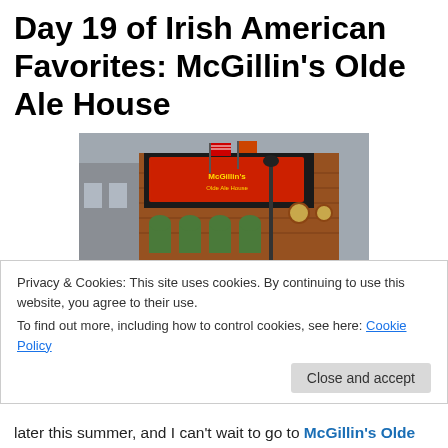Day 19 of Irish American Favorites: McGillin’s Olde Ale House
[Figure (photo): Exterior photo of McGillin's Olde Ale House, a brick building with signage, arched windows, flags, and people sitting outside on a city street.]
Privacy & Cookies: This site uses cookies. By continuing to use this website, you agree to their use.
To find out more, including how to control cookies, see here: Cookie Policy
later this summer, and I can’t wait to go to McGillin’s Olde